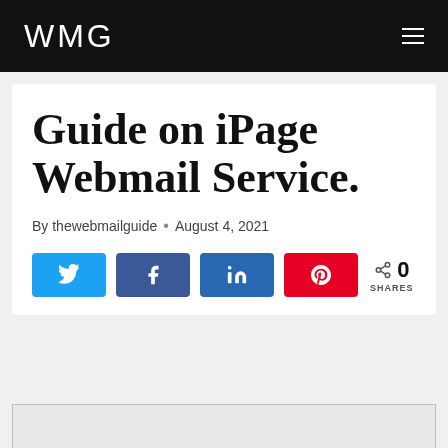WMG
Guide on iPage Webmail Service.
By thewebmailguide · August 4, 2021
[Figure (screenshot): Social share buttons: Twitter, Facebook, LinkedIn, Pinterest, and share count showing 0 SHARES]
[Figure (screenshot): Bottom partial image strip (gray background with border)]